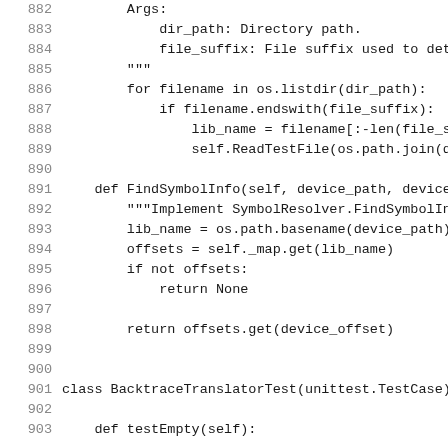Code listing lines 882-903 showing Python source code for FindSymbolInfo method and BacktraceTranslatorTest class